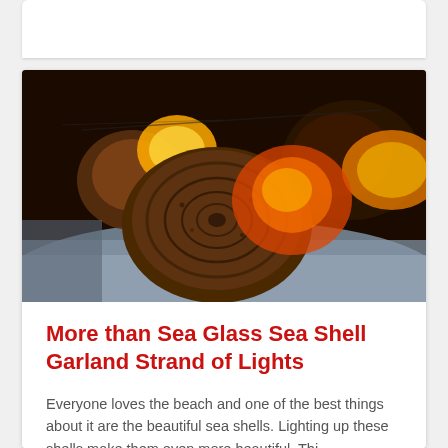[Figure (photo): Close-up photograph of sea shells with warm orange and red glowing light behind them, placed on a blue-grey surface. The shells appear to be lit from behind with string lights, creating a warm amber glow.]
More than Sea Glass Sea Shell Garland Strand of Lights
Everyone loves the beach and one of the best things about it are the beautiful sea shells. Lighting up these shells make them even more beautiful. Thi...